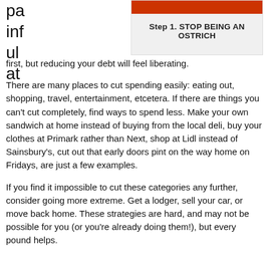[Figure (other): Step box with orange banner and text 'Step 1. STOP BEING AN OSTRICH']
pa inf ul at first, but reducing your debt will feel liberating.
There are many places to cut spending easily: eating out, shopping, travel, entertainment, etcetera. If there are things you can't cut completely, find ways to spend less. Make your own sandwich at home instead of buying from the local deli, buy your clothes at Primark rather than Next, shop at Lidl instead of Sainsbury's, cut out that early doors pint on the way home on Fridays, are just a few examples.
If you find it impossible to cut these categories any further, consider going more extreme. Get a lodger, sell your car, or move back home. These strategies are hard, and may not be possible for you (or you're already doing them!), but every pound helps.